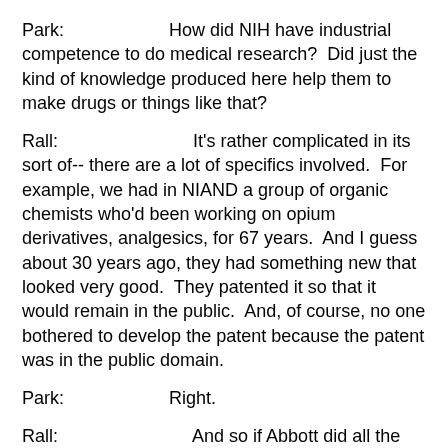Park:                    How did NIH have industrial competence to do medical research?  Did just the kind of knowledge produced here help them to make drugs or things like that?
Rall:                         It's rather complicated in its sort of-- there are a lot of specifics involved.  For example, we had in NIAND a group of organic chemists who'd been working on opium derivatives, analgesics, for 67 years.  And I guess about 30 years ago, they had something new that looked very good.  They patented it so that it would remain in the public.  And, of course, no one bothered to develop the patent because the patent was in the public domain.
Park:                    Right.
Rall:                         And so if Abbott did all the clinical testing, pre-clinical testing and everything, and got it, Roche could drop in, make the same thing, sell it for a penny less, advertise it more, and so there was no incentive for anyone to develop it.  That drug was never